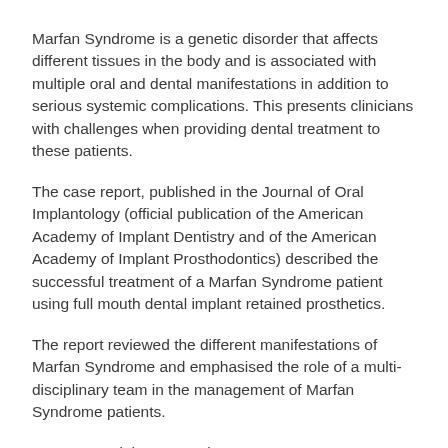Marfan Syndrome is a genetic disorder that affects different tissues in the body and is associated with multiple oral and dental manifestations in addition to serious systemic complications. This presents clinicians with challenges when providing dental treatment to these patients.
The case report, published in the Journal of Oral Implantology (official publication of the American Academy of Implant Dentistry and of the American Academy of Implant Prosthodontics) described the successful treatment of a Marfan Syndrome patient using full mouth dental implant retained prosthetics.
The report reviewed the different manifestations of Marfan Syndrome and emphasised the role of a multi-disciplinary team in the management of Marfan Syndrome patients.
You can read the news release on: